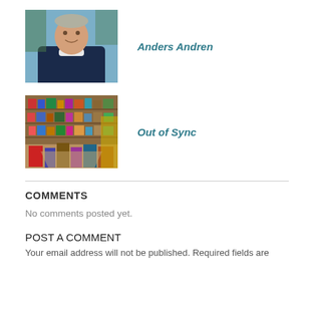[Figure (photo): Headshot of Anders Andren, an older smiling man in a dark navy sweater, outdoors near water]
Anders Andren
[Figure (photo): Interior of a crowded shop or market with many items on shelves and tables, colorful merchandise, Out of Sync store]
Out of Sync
COMMENTS
No comments posted yet.
POST A COMMENT
Your email address will not be published. Required fields are